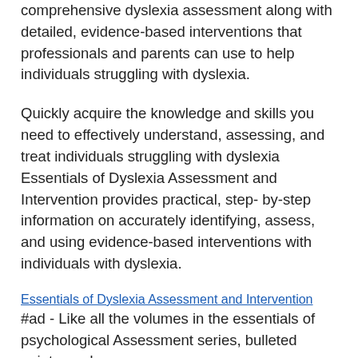comprehensive dyslexia assessment along with detailed, evidence-based interventions that professionals and parents can use to help individuals struggling with dyslexia.
Quickly acquire the knowledge and skills you need to effectively understand, assessing, and treat individuals struggling with dyslexia Essentials of Dyslexia Assessment and Intervention provides practical, step-by-step information on accurately identifying, assess, and using evidence-based interventions with individuals with dyslexia.
Essentials of Dyslexia Assessment and Intervention
#ad - Like all the volumes in the essentials of psychological Assessment series, bulleted points, and